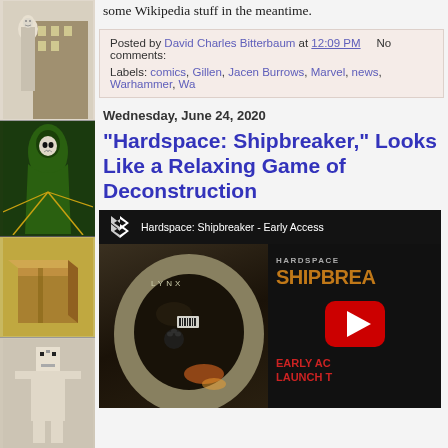[Figure (illustration): Sidebar with four comic/illustration images: a pale figure in robes, a green-hooded villain, a brown box illustration, and a pixel art pale figure]
some Wikipedia stuff in the meantime.
Posted by David Charles Bitterbaum at 12:09 PM   No comments:
Labels: comics, Gillen, Jacen Burrows, Marvel, news, Warhammer, Wa...
Wednesday, June 24, 2020
"Hardspace: Shipbreaker," Looks Like a Relaxing Game of Deconstruction
[Figure (screenshot): YouTube video thumbnail for Hardspace: Shipbreaker - Early Access. Shows astronaut in helmet on left, HARDSPACE SHIPBREA... text on right in orange, play button in center, EARLY AC... LAUNCH T... text in red at bottom right.]